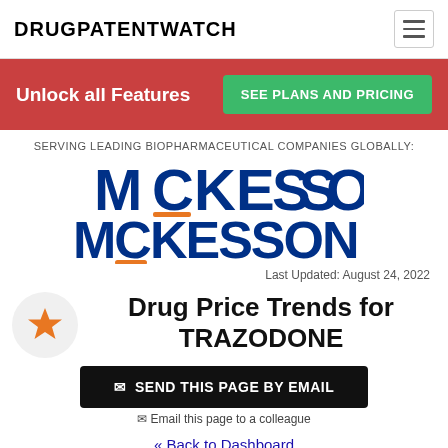DRUGPATENTWATCH
Unlock all Features  SEE PLANS AND PRICING
SERVING LEADING BIOPHARMACEUTICAL COMPANIES GLOBALLY:
[Figure (logo): McKesson logo in blue and orange]
Last Updated: August 24, 2022
Drug Price Trends for TRAZODONE
✉ SEND THIS PAGE BY EMAIL
✉ Email this page to a colleague
« Back to Dashboard